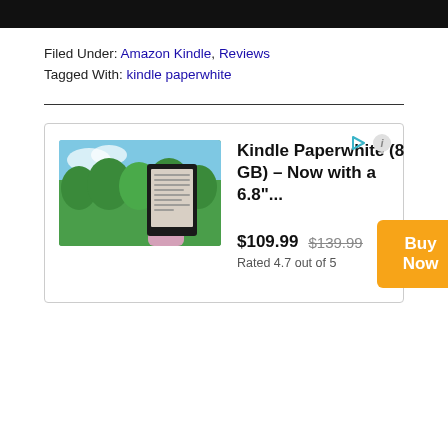[Figure (other): Dark/black banner bar at top of page]
Filed Under: Amazon Kindle, Reviews
Tagged With: kindle paperwhite
[Figure (infographic): Advertisement box for Kindle Paperwhite (8 GB) – Now with a 6.8"... priced at $109.99 (was $139.99), Rated 4.7 out of 5, with a Buy Now button]